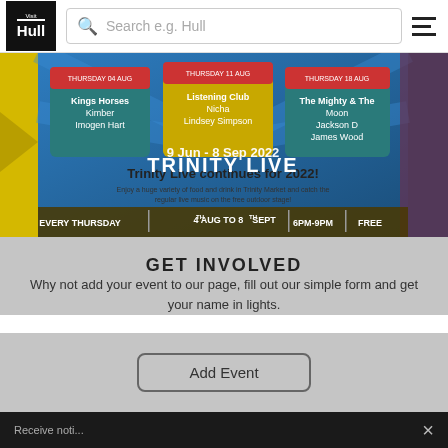Visit Hull — Search e.g. Hull — Navigation menu
[Figure (photo): Trinity Live event promotional banner showing schedule panels: Kings Horses, Kimber, Imogen Hart / Listening Club, Nicha, Lindsey Simpson / The Mighty & The Moon, Jackson D, James Wood. Text overlay reads '9 Jun - 8 Sep 2022' and 'TRINITY LIVE'. Bottom banner reads 'EVERY THURSDAY | 4th AUG TO 8th SEPT | 6PM-9PM | FREE'. Headline: Trinity Live continues for 2022!]
GET INVOLVED
Why not add your event to our page, fill out our simple form and get your name in lights.
Add Event
footer bar with close button